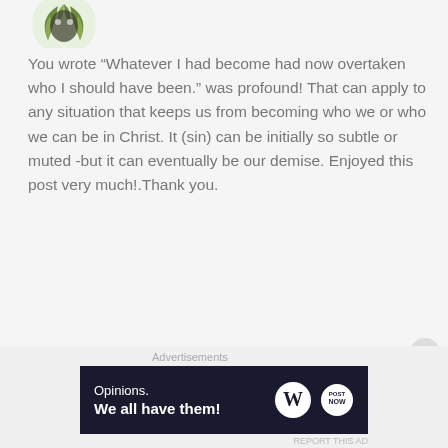[Figure (logo): Partial green leaf/wreath logo avatar at top left, cropped]
You wrote “Whatever I had become had now overtaken who I should have been.” was profound! That can apply to any situation that keeps us from becoming who we or who we can be in Christ. It (sin) can be initially so subtle or muted -but it can eventually be our demise. Enjoyed this post very much!.Thank you.
★ Liked by 1 person
[Figure (photo): Circular profile photo of a woman with short blonde hair and glasses]
TruthforHim1224
MAY 8, 2014 AT 9:21 PM
Advertisements
Opinions. We all have them!